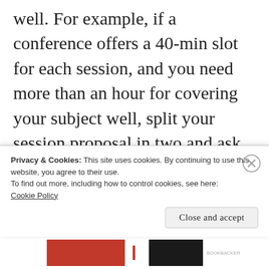well. For example, if a conference offers a 40-min slot for each session, and you need more than an hour for covering your subject well, split your session proposal in two and ask for two slots.
...
Privacy & Cookies: This site uses cookies. By continuing to use this website, you agree to their use. To find out more, including how to control cookies, see here: Cookie Policy